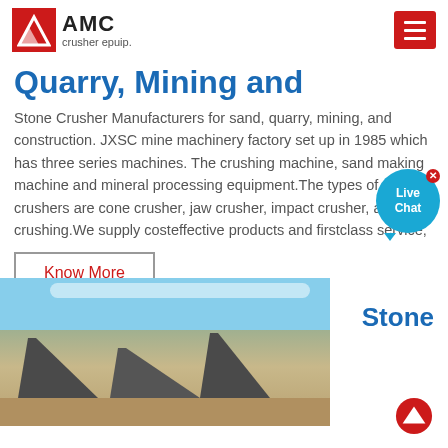AMC crusher epuip.
Quarry, Mining and
Stone Crusher Manufacturers for sand, quarry, mining, and construction. JXSC mine machinery factory set up in 1985 which has three series machines. The crushing machine, sand making machine and mineral processing equipment.The types of stone crushers are cone crusher, jaw crusher, impact crusher, and rock crushing.We supply costeffective products and firstclass service,
Know More
[Figure (photo): Mining/quarry site with conveyor belts and industrial crushing equipment against a blue sky background]
Stone